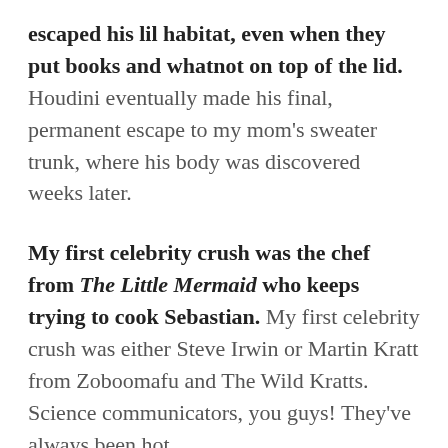escaped his lil habitat, even when they put books and whatnot on top of the lid. Houdini eventually made his final, permanent escape to my mom's sweater trunk, where his body was discovered weeks later.
My first celebrity crush was the chef from The Little Mermaid who keeps trying to cook Sebastian. My first celebrity crush was either Steve Irwin or Martin Kratt from Zoboomafu and The Wild Kratts. Science communicators, you guys! They've always been hot.
We sometimes call my sister "Crabby Abby" or "The Grumpy Pumpkin." It's true. Every Abby's family calls her "Crabby Abby." The grumpy pumpkin thing comes from one time that we were at a craft...